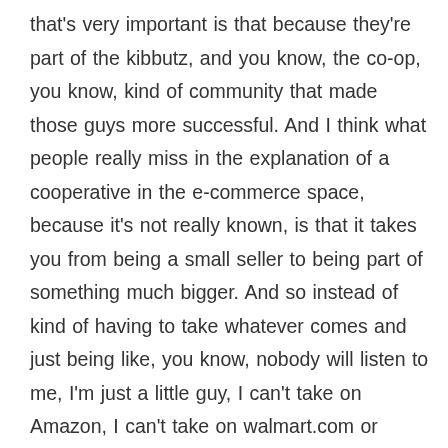that's very important is that because they're part of the kibbutz, and you know, the co-op, you know, kind of community that made those guys more successful. And I think what people really miss in the explanation of a cooperative in the e-commerce space, because it's not really known, is that it takes you from being a small seller to being part of something much bigger. And so instead of kind of having to take whatever comes and just being like, you know, nobody will listen to me, I'm just a little guy, I can't take on Amazon, I can't take on walmart.com or eBay, you know, it makes you have a louder voice because there are so many sellers now who are saying the same thing. And so if you have someone representing you, as a little guy, then now you can achieve more now you can have the